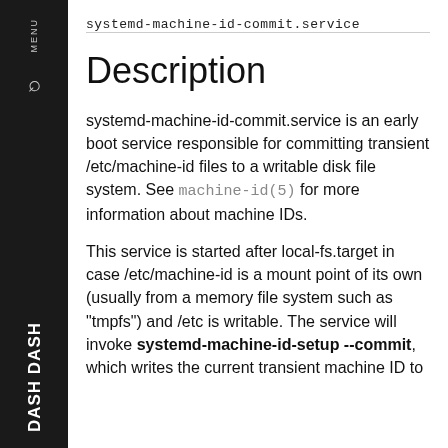systemd-machine-id-commit.service
Description
systemd-machine-id-commit.service is an early boot service responsible for committing transient /etc/machine-id files to a writable disk file system. See machine-id(5) for more information about machine IDs.
This service is started after local-fs.target in case /etc/machine-id is a mount point of its own (usually from a memory file system such as "tmpfs") and /etc is writable. The service will invoke systemd-machine-id-setup --commit, which writes the current transient machine ID to